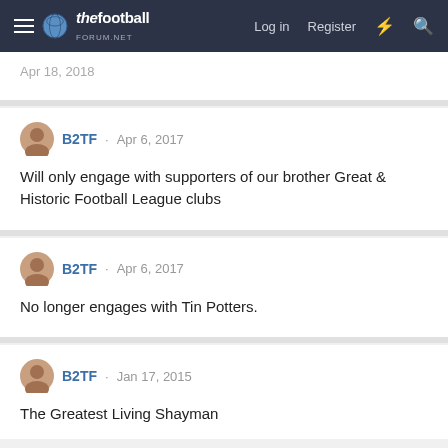thefootballforum.net — Log in | Register
Apr 18, 2018
B2TF · Apr 6, 2017
Will only engage with supporters of our brother Great & Historic Football League clubs
B2TF · Apr 6, 2017
No longer engages with Tin Potters.
B2TF · Jan 17, 2015
The Greatest Living Shayman